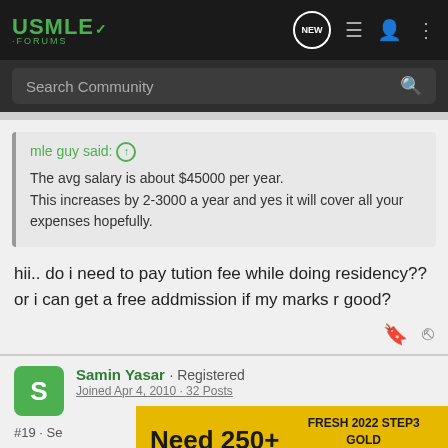USMLE FORUMS
Search Community
mle guy said: ↑
The avg salary is about $45000 per year.
This increases by 2-3000 a year and yes it will cover all your expenses hopefully.
hii.. do i need to pay tution fee while doing residency?? or i can get a free addmission if my marks r good?
Samin Yasar · Registered
Joined Apr 4, 2010 · 32 Posts
#19 · Se
Need 250+   FRESH 2022 STEP3 GOLD QBANK questions